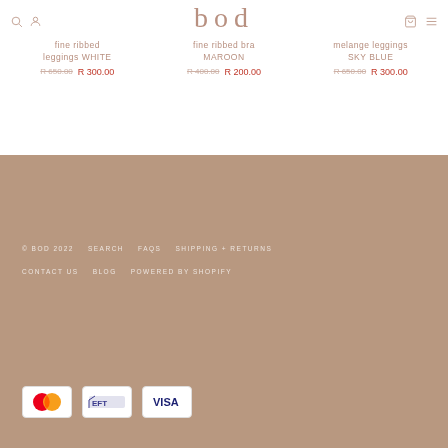bod
fine ribbed leggings WHITE
R 650.00  R 300.00
fine ribbed bra MAROON
R 400.00  R 200.00
melange leggings SKY BLUE
R 650.00  R 300.00
© BOD 2022  SEARCH  FAQS  SHIPPING + RETURNS  CONTACT US  BLOG  POWERED BY SHOPIFY